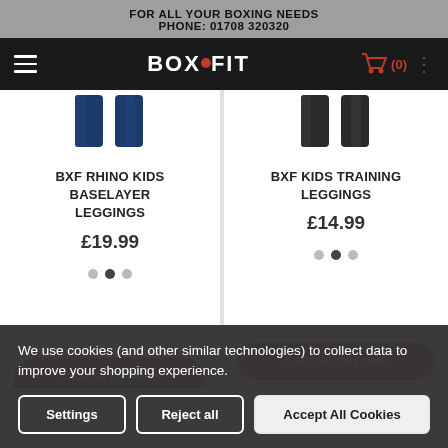FOR ALL YOUR BOXING NEEDS
PHONE: 01708 320320
[Figure (logo): Boxfit logo with hamburger menu and shopping cart icon showing (0) items on black navigation bar]
[Figure (photo): BXF Rhino Kids Baselayer Leggings product image - two navy/dark blue leggings]
BXF RHINO KIDS BASELAYER LEGGINGS
£19.99
[Figure (photo): BXF Kids Training Leggings product image - two black leggings]
BXF KIDS TRAINING LEGGINGS
£14.99
CHOOSE OPTIONS
We use cookies (and other similar technologies) to collect data to improve your shopping experience.
Settings | Reject all | Accept All Cookies